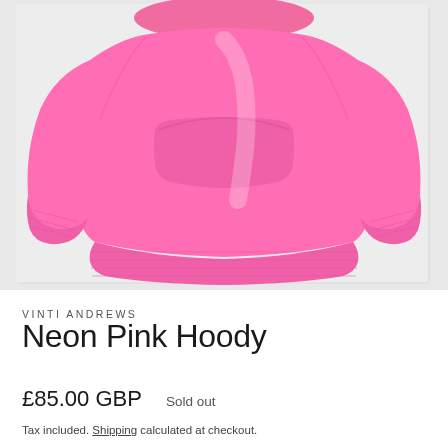[Figure (photo): Product photo of a neon pink cropped hoodie/sweatshirt laid flat on a light grey background, showing the front with kangaroo pocket and ribbed cuffs and hem band.]
VINTI ANDREWS
Neon Pink Hoody
£85.00 GBP    Sold out
Tax included. Shipping calculated at checkout.